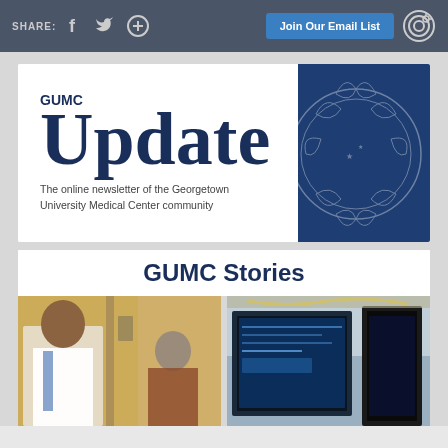SHARE: [facebook] [twitter] [+] | Join Our Email List | [target icon]
[Figure (logo): GUMC Update newsletter banner logo with Georgetown University seal on right side. Text reads: GUMC Update - The online newsletter of the Georgetown University Medical Center community]
GUMC Stories
[Figure (photo): Photo of a doctor in white coat consulting with a patient in a medical office setting]
[Figure (photo): Photo of medical monitors/screens displaying imaging data in a clinical setting]